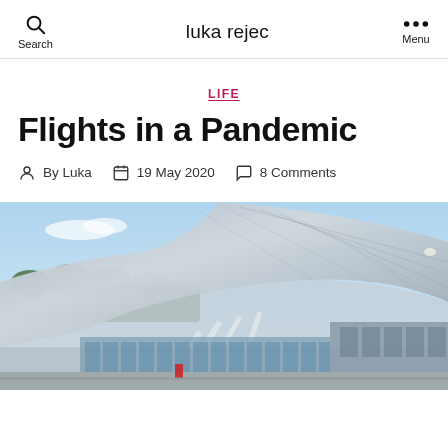luka rejec
LIFE
Flights in a Pandemic
By Luka   19 May 2020   8 Comments
[Figure (photo): Modern airport terminal building with a large curved metallic roof structure, photographed from outside under a blue sky with light clouds. Trees visible in the background, glass entrance doors at ground level.]